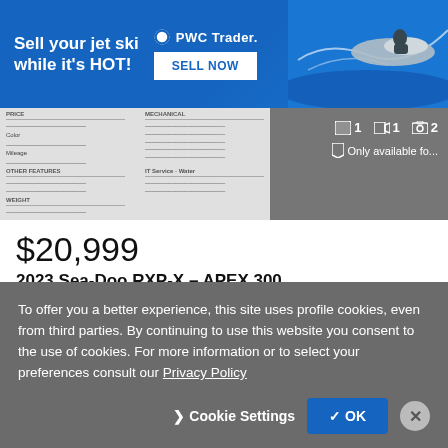[Figure (screenshot): PWC Trader advertisement banner: blue background with text 'Sell your jet ski while it's HOT!' and a 'SELL NOW' button, PWC Trader logo, and a jet ski image on the right.]
[Figure (screenshot): Blurred listing document preview with media icons showing 1 image, 1 video, 2 photos, and text 'Only available fo...' overlay on gray background.]
$20,999
2023 Sea-Doo RXP-X - APEX 300
Woods Cycle Country
New Braunfels, TX - 1,334 mi. away
Chat
Email
Call
To offer you a better experience, this site uses profile cookies, even from third parties. By continuing to use this website you consent to the use of cookies. For more information or to select your preferences consult our Privacy Policy
Cookie Settings
OK